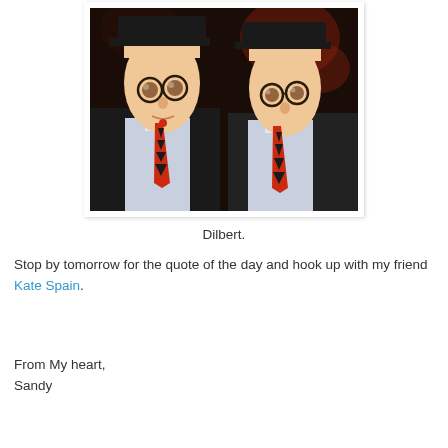[Figure (photo): A photograph showing two people dressed in Dilbert cartoon character costumes — large oval bald heads with round glasses and ties. They are wearing white shirts with red and black diamond-patterned ties, posed side by side in a dark setting.]
Dilbert.
Stop by tomorrow for the quote of the day and hook up with my friend Kate Spain.
From My heart,
Sandy